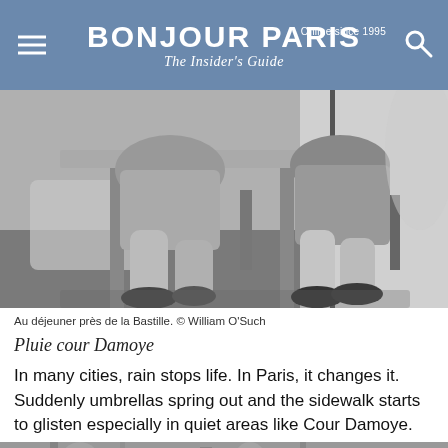BONJOUR PARIS The Insider's Guide Online since 1995
[Figure (photo): Black and white photograph of people sitting at a café table near La Bastille, showing legs and chairs of seated patrons on a sidewalk terrace]
Au déjeuner près de la Bastille. © William O'Such
Pluie cour Damoye
In many cities, rain stops life. In Paris, it changes it. Suddenly umbrellas spring out and the sidewalk starts to glisten especially in quiet areas like Cour Damoye.
[Figure (photo): Black and white photograph of a Parisian street scene, partially visible at the bottom of the page]